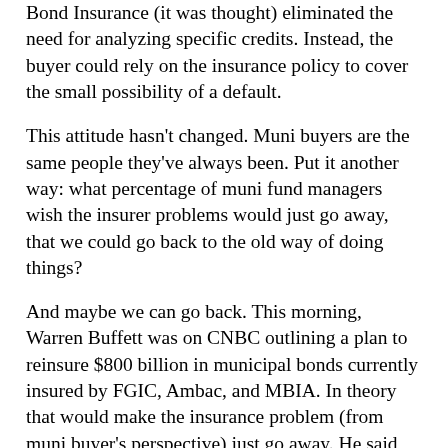Bond Insurance (it was thought) eliminated the need for analyzing specific credits. Instead, the buyer could rely on the insurance policy to cover the small possibility of a default.
This attitude hasn't changed. Muni buyers are the same people they've always been. Put it another way: what percentage of muni fund managers wish the insurer problems would just go away, that we could go back to the old way of doing things?
And maybe we can go back. This morning, Warren Buffett was on CNBC outlining a plan to reinsure $800 billion in municipal bonds currently insured by FGIC, Ambac, and MBIA. In theory that would make the insurance problem (from muni buyer's perspective) just go away. He said that one insurer already turned down his plan, but his proposal remains significant. It means that there is private sector capital ready to get into the municipal insurance business.
The fact is that confidence in insurance has never been lower, and yet buyers continue to demand insurance at all